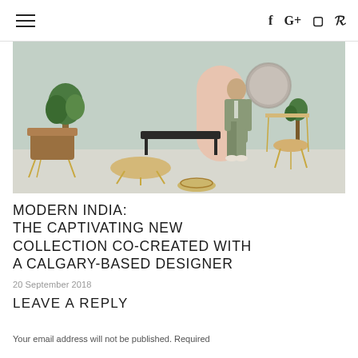☰  f  G+  ⊡  p
[Figure (photo): Interior design scene showing a man in a suit standing among modern furniture pieces including a leather chair, accent tables, a bench, plants, a pink arch panel, and a round mirror, all in a light mint/grey studio setting.]
MODERN INDIA: THE CAPTIVATING NEW COLLECTION CO-CREATED WITH A CALGARY-BASED DESIGNER
20 September 2018
LEAVE A REPLY
Your email address will not be published. Required